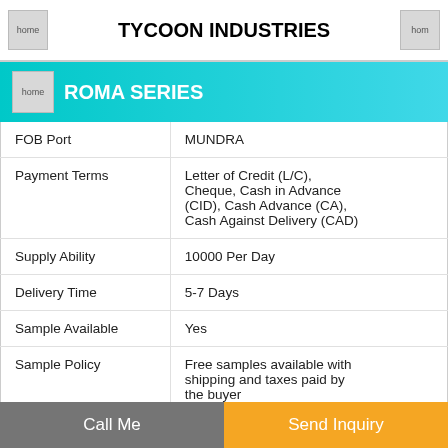TYCOON INDUSTRIES
ROMA SERIES
| FOB Port | MUNDRA |
| Payment Terms | Letter of Credit (L/C), Cheque, Cash in Advance (CID), Cash Advance (CA), Cash Against Delivery (CAD) |
| Supply Ability | 10000 Per Day |
| Delivery Time | 5-7 Days |
| Sample Available | Yes |
| Sample Policy | Free samples available with shipping and taxes paid by the buyer |
| Packaging Details | 600X600 MM :- 4 pcs. / Box
800X800 MM :- 3 pcs. / Box
600X1200 MM :- 2 pcs. / Box
800X1600 MM :- 2 pcs. / Box
1200X1200 MM :- 2 pcs. / |
Call Me   Send Inquiry